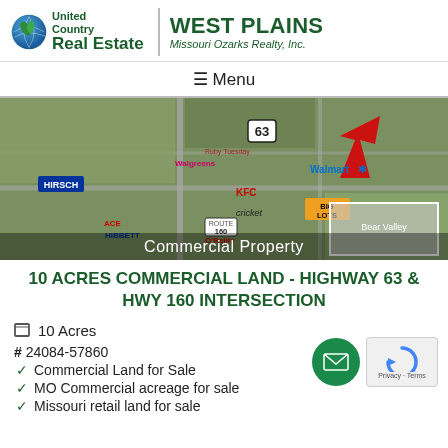[Figure (logo): United Country Real Estate - West Plains Missouri Ozarks Realty Inc. logo with globe icon and green text]
≡ Menu
[Figure (photo): Aerial map image of commercial property area near Highway 63 and Highway 160 intersection showing various retail stores including Walmart, KFC, Big Lots, Cricket, Walgreens, Hibbett and others. Red arrow pointing to site. Inset box showing Bear Valley area.]
10 ACRES COMMERCIAL LAND - HIGHWAY 63 & HWY 160 INTERSECTION
10 Acres
# 24084-57860
Commercial Land for Sale
MO Commercial acreage for sale
Missouri retail land for sale